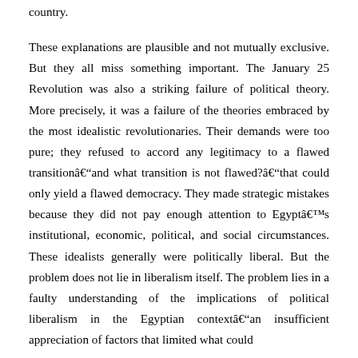country. These explanations are plausible and not mutually exclusive. But they all miss something important. The January 25 Revolution was also a striking failure of political theory. More precisely, it was a failure of the theories embraced by the most idealistic revolutionaries. Their demands were too pure; they refused to accord any legitimacy to a flawed transitionâ€"and what transition is not flawed?â€"that could only yield a flawed democracy. They made strategic mistakes because they did not pay enough attention to Egyptâ€™s institutional, economic, political, and social circumstances. These idealists generally were politically liberal. But the problem does not lie in liberalism itself. The problem lies in a faulty understanding of the implications of political liberalism in the Egyptian contextâ€"an insufficient appreciation of factors that limited what could